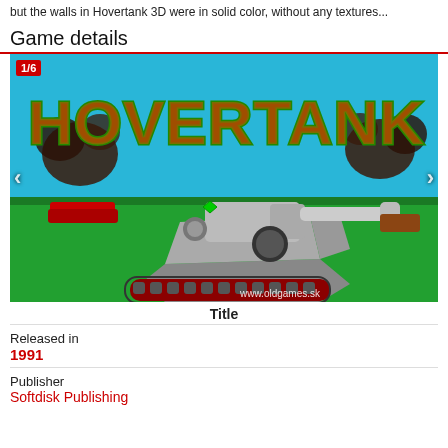but the walls in Hovertank 3D were in solid color, without any textures...
Game details
[Figure (screenshot): Game title screen screenshot of Hovertank showing a tank on a green field with large HOVERTANK text and explosions. Badge shows 1/6. Website watermark www.oldgames.sk. Navigation arrows on left and right.]
Title
Released in
1991
Publisher
Softdisk Publishing